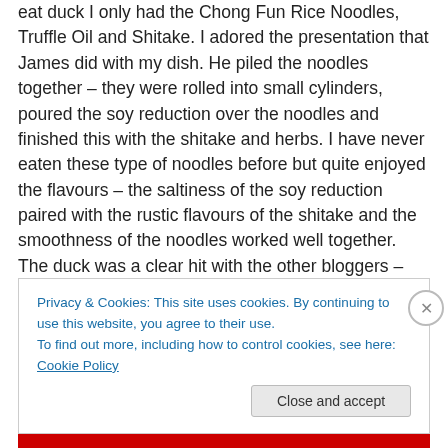eat duck I only had the Chong Fun Rice Noodles, Truffle Oil and Shitake. I adored the presentation that James did with my dish. He piled the noodles together – they were rolled into small cylinders, poured the soy reduction over the noodles and finished this with the shitake and herbs. I have never eaten these type of noodles before but quite enjoyed the flavours – the saltiness of the soy reduction paired with the rustic flavours of the shitake and the smoothness of the noodles worked well together. The duck was a clear hit with the other bloggers – who even went in for seconds. They were surprised at how
Privacy & Cookies: This site uses cookies. By continuing to use this website, you agree to their use. To find out more, including how to control cookies, see here: Cookie Policy
Close and accept